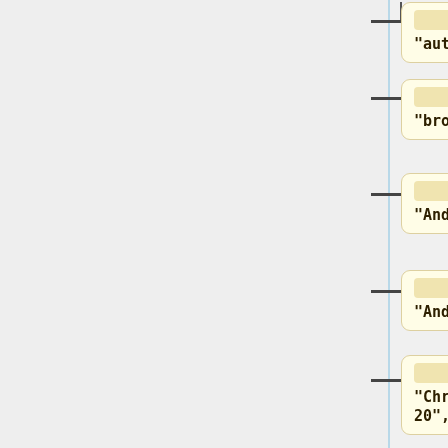[Figure (screenshot): A code viewer UI showing a JSON configuration tree with nodes: 'autoprefixer': {, 'browsers': [, 'Android 2.3', 'Android >= 4', 'Chrome >= 20', 'Firefox >= 24', 'Explorer >= 8', 'iOS >= 6'. Each node is displayed as a rounded beige card connected by a dash to a vertical blue line on the left.]